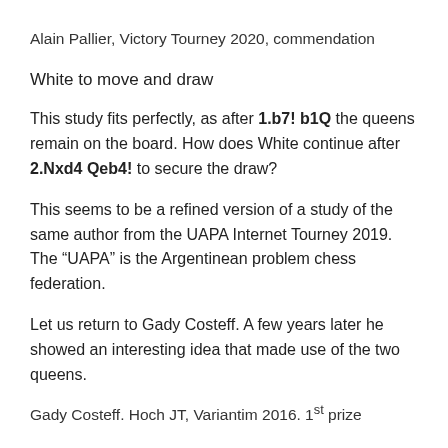Alain Pallier, Victory Tourney 2020, commendation
White to move and draw
This study fits perfectly, as after 1.b7! b1Q the queens remain on the board. How does White continue after 2.Nxd4 Qeb4! to secure the draw?
This seems to be a refined version of a study of the same author from the UAPA Internet Tourney 2019. The “UAPA” is the Argentinean problem chess federation.
Let us return to Gady Costeff. A few years later he showed an interesting idea that made use of the two queens.
Gady Costeff. Hoch JT, Variantim 2016. 1st prize